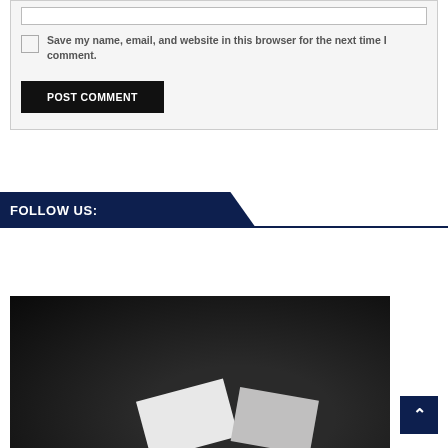Save my name, email, and website in this browser for the next time I comment.
POST COMMENT
FOLLOW US:
[Figure (photo): Dark background photo showing white card objects, partially visible at bottom of page]